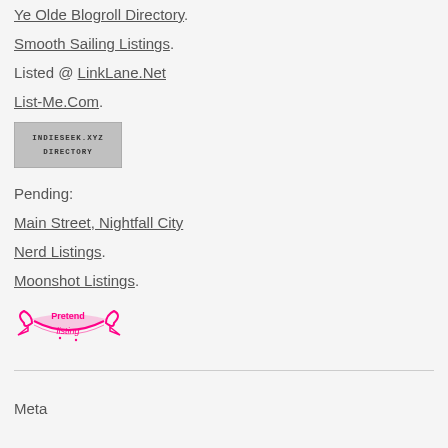Ye Olde Blogroll Directory.
Smooth Sailing Listings.
Listed @ LinkLane.Net
List-Me.Com.
[Figure (other): INDIESEEK.XYZ DIRECTORY badge - grey rectangular button with monospace text]
Pending:
Main Street, Nightfall City
Nerd Listings.
Moonshot Listings.
[Figure (other): Pixel art pink banner badge reading 'Pretend listing' with decorative ribbon and bow graphics]
Meta